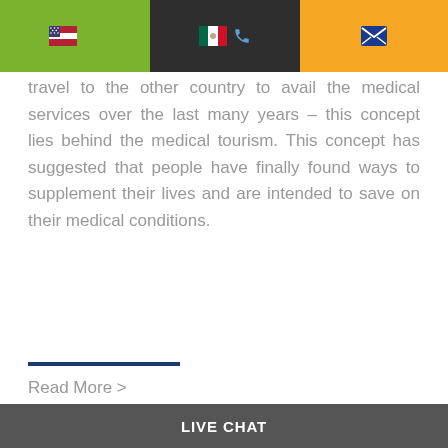[Figure (screenshot): Top navigation bar with three sections: green section with US flag and phone icon, dark section with Mexican flag and phone icon, orange section with email/envelope icon]
travel to the other country to avail the medical services over the last many years – this concept lies behind the medical tourism. This concept has suggested that people have finally found ways to supplement their lives and are intended to save on their medical conditions.
Read More >
[Figure (photo): Blue sky with white clouds panoramic photo]
LIVE CHAT